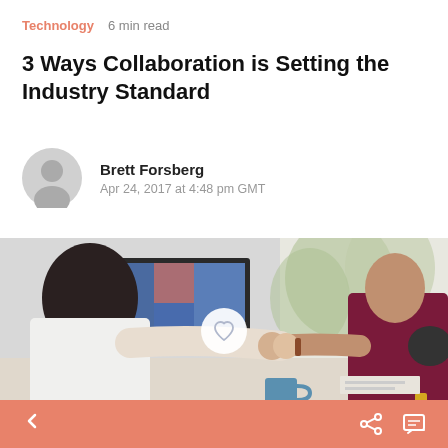Technology   6 min read
3 Ways Collaboration is Setting the Industry Standard
Brett Forsberg
Apr 24, 2017 at 4:48 pm GMT
[Figure (photo): Two people doing a fist bump over a desk with a computer monitor and office items in background]
< navigation back | share icon | comment icon